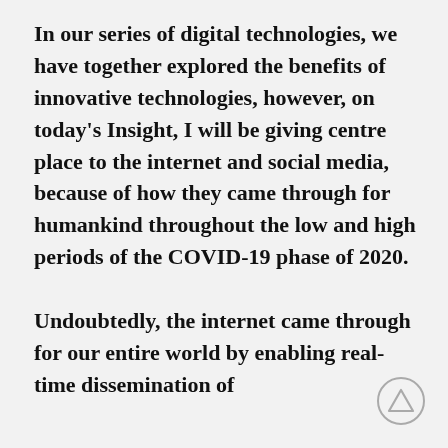In our series of digital technologies, we have together explored the benefits of innovative technologies, however, on today's Insight, I will be giving centre place to the internet and social media, because of how they came through for humankind throughout the low and high periods of the COVID-19 phase of 2020.
Undoubtedly, the internet came through for our entire world by enabling real-time dissemination of